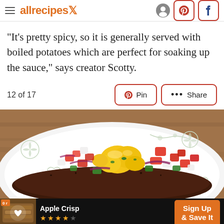allrecipes
"It's pretty spicy, so it is generally served with boiled potatoes which are perfect for soaking up the sauce," says creator Scotty.
12 of 17
[Figure (photo): Close-up photo of a dish on a decorative white plate with floral patterns, showing a dark seasoned meat topped with colorful mango salsa including yellow mango chunks, diced red and green peppers, and red onion.]
[Figure (infographic): Ad banner for Apple Crisp recipe with orange star ratings, heart icon, and 'Sign Up & Save It' call to action button on dark background.]